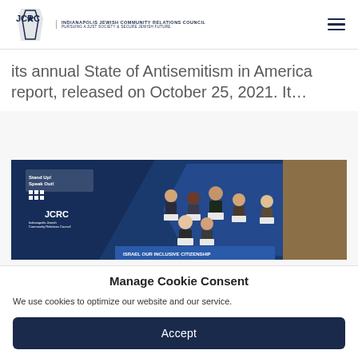INDIANAPOLIS JEWISH COMMUNITY RELATIONS COUNCIL — PURSUING A JUST SOCIETY & SECURE JEWISH FUTURE
its annual State of Antisemitism in America report, released on October 25, 2021. It…
[Figure (photo): Group photo of students holding certificates at an event with JCRC and Stand Up! Speak Out! branding on a blue geometric background.]
Manage Cookie Consent
We use cookies to optimize our website and our service.
Accept